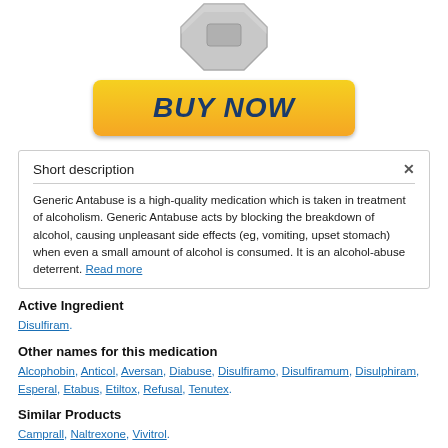[Figure (photo): Grey octagonal pill/tablet shape (stop-sign shaped) with a rectangular marking on top, viewed from above]
[Figure (other): Yellow-orange gradient 'BUY NOW' button with dark blue bold italic text]
Short description
Generic Antabuse is a high-quality medication which is taken in treatment of alcoholism. Generic Antabuse acts by blocking the breakdown of alcohol, causing unpleasant side effects (eg, vomiting, upset stomach) when even a small amount of alcohol is consumed. It is an alcohol-abuse deterrent. Read more
Active Ingredient
Disulfiram.
Other names for this medication
Alcophobin, Anticol, Aversan, Diabuse, Disulfiramo, Disulfiramum, Disulphiram, Esperal, Etabus, Etiltox, Refusal, Tenutex.
Similar Products
Camprall, Naltrexone, Vivitrol.
Ingredients